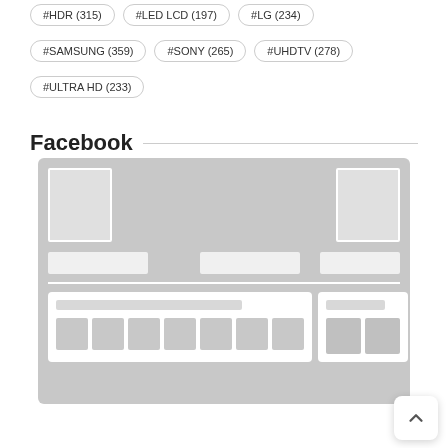#HDR (315)
#LED LCD (197)
#LG (234)
#SAMSUNG (359)
#SONY (265)
#UHDTV (278)
#ULTRA HD (233)
Facebook
[Figure (screenshot): Facebook page preview screenshot placeholder showing a social media page layout with avatar placeholders, banner area, buttons row, and post thumbnails below]